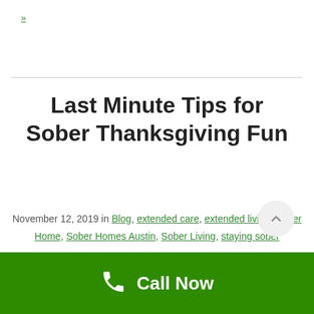»
Last Minute Tips for Sober Thanksgiving Fun
November 12, 2019 in Blog, extended care, extended living, Sober Home, Sober Homes Austin, Sober Living, staying sober
Call Now